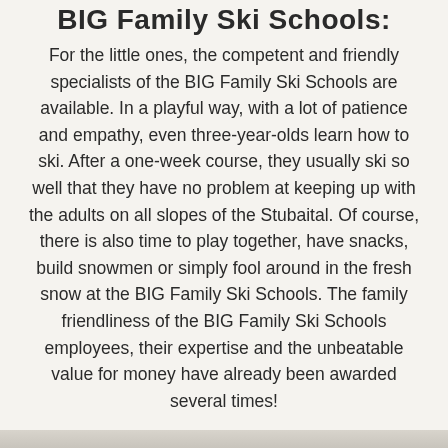BIG Family Ski Schools:
For the little ones, the competent and friendly specialists of the BIG Family Ski Schools are available. In a playful way, with a lot of patience and empathy, even three-year-olds learn how to ski. After a one-week course, they usually ski so well that they have no problem at keeping up with the adults on all slopes of the Stubaital. Of course, there is also time to play together, have snacks, build snowmen or simply fool around in the fresh snow at the BIG Family Ski Schools. The family friendliness of the BIG Family Ski Schools employees, their expertise and the unbeatable value for money have already been awarded several times!